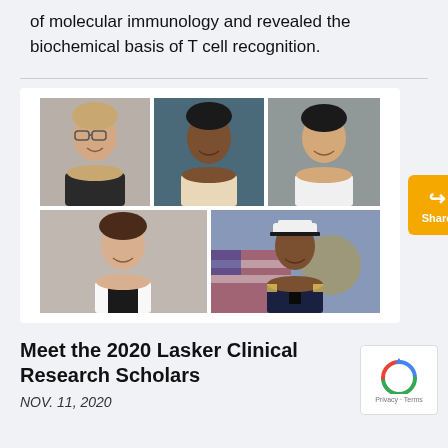of molecular immunology and revealed the biochemical basis of T cell recognition.
[Figure (photo): A 2x3 grid of five headshots: top row shows a woman with glasses, a man with dark complexion, and a woman of Asian descent; bottom row shows a woman in white coat and a man in Navy officer uniform.]
Meet the 2020 Lasker Clinical Research Scholars
NOV. 11, 2020